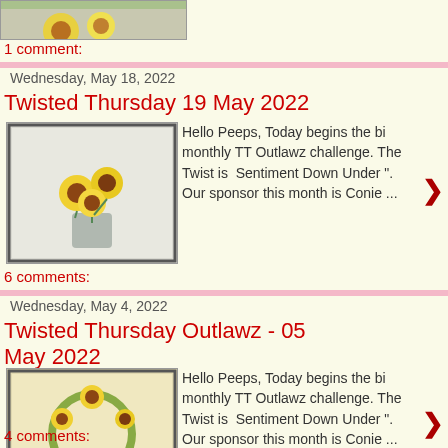[Figure (photo): Partial thumbnail of a floral craft/painting at top of page]
1 comment:
Wednesday, May 18, 2022
Twisted Thursday 19 May 2022
[Figure (photo): Thumbnail of a sunflower painting/card with yellow flowers in a vase on a grey background]
Hello Peeps, Today begins the bi monthly TT Outlawz challenge. The Twist is  Sentiment Down Under ".  Our sponsor this month is Conie ...
6 comments:
Wednesday, May 4, 2022
Twisted Thursday Outlawz - 05 May 2022
[Figure (photo): Thumbnail of a sunflower wreath painting/card with yellow flowers and a bucket on a yellow background]
Hello Peeps, Today begins the bi monthly TT Outlawz challenge. The Twist is  Sentiment Down Under ".  Our sponsor this month is Conie ...
4 comments: